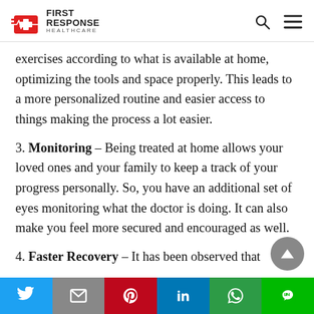First Response Healthcare
exercises according to what is available at home, optimizing the tools and space properly. This leads to a more personalized routine and easier access to things making the process a lot easier.
3. Monitoring – Being treated at home allows your loved ones and your family to keep a track of your progress personally. So, you have an additional set of eyes monitoring what the doctor is doing. It can also make you feel more secured and encouraged as well.
4. Faster Recovery – It has been observed that
Twitter | Mail | Pinterest | LinkedIn | WhatsApp | LINE